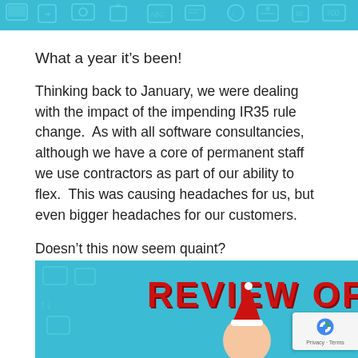[decorative banner with technology icons on teal background]
What a year it’s been!
Thinking back to January, we were dealing with the impact of the impending IR35 rule change.  As with all software consultancies, although we have a core of permanent staff we use contractors as part of our ability to flex.  This was causing headaches for us, but even bigger headaches for our customers.
Doesn’t this now seem quaint?
[Figure (photo): Video thumbnail showing 'REVIEW OF 2020' text in red on a teal background with technology icons, person wearing a Santa hat on the left, and an animated stick figure on the right with a grey circle overlay]